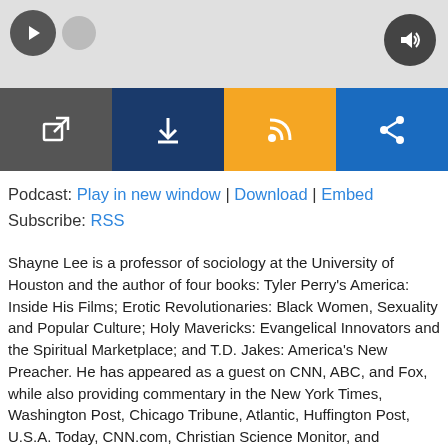[Figure (screenshot): Podcast player interface with play button, speaker icon, and four control buttons: open in new window (dark grey), download (dark navy), RSS (orange), share (blue)]
Podcast: Play in new window | Download | Embed
Subscribe: RSS
Shayne Lee is a professor of sociology at the University of Houston and the author of four books: Tyler Perry's America: Inside His Films; Erotic Revolutionaries: Black Women, Sexuality and Popular Culture; Holy Mavericks: Evangelical Innovators and the Spiritual Marketplace; and T.D. Jakes: America's New Preacher. He has appeared as a guest on CNN, ABC, and Fox, while also providing commentary in the New York Times, Washington Post, Chicago Tribune, Atlantic, Huffington Post, U.S.A. Today, CNN.com, Christian Science Monitor, and numerous other periodicals